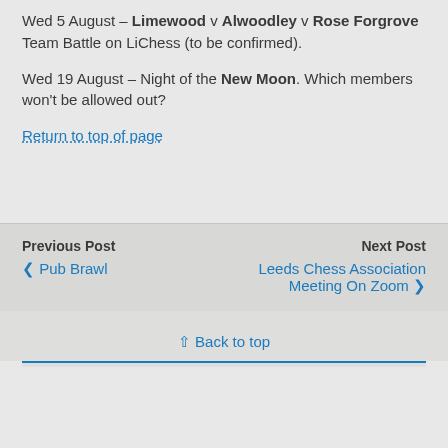Wed 5 August – Limewood v Alwoodley v Rose Forgrove Team Battle on LiChess (to be confirmed).
Wed 19 August – Night of the New Moon. Which members won't be allowed out?
Return to top of page
Previous Post ❮ Pub Brawl | Next Post Leeds Chess Association Meeting On Zoom ❯
⇪ Back to top